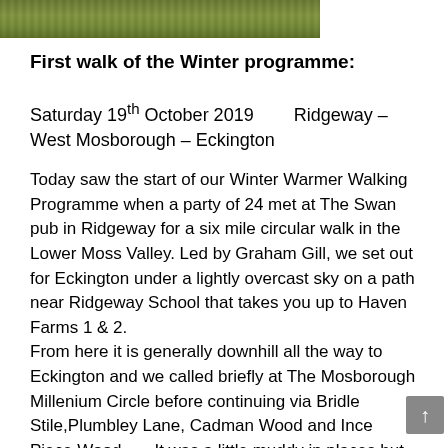[Figure (photo): Partial photo strip at top of page showing grassy/green outdoor scene]
First walk of the Winter programme:
Saturday 19th October 2019        Ridgeway – West Mosborough – Eckington
Today saw the start of our Winter Warmer Walking Programme when a party of 24 met at The Swan pub in Ridgeway for a six mile circular walk in the Lower Moss Valley. Led by Graham Gill, we set out for Eckington under a lightly overcast sky on a path near Ridgeway School that takes you up to Haven Farms 1 & 2.
From here it is generally downhill all the way to Eckington and we called briefly at The Mosborough Millenium Circle before continuing via Bridle Stile,Plumbley Lane, Cadman Wood and Ince Piece Wood.      It was a little muddy in places but not too bad in spite of a wet two weeks previous.   All the way down the sky was clearing and we